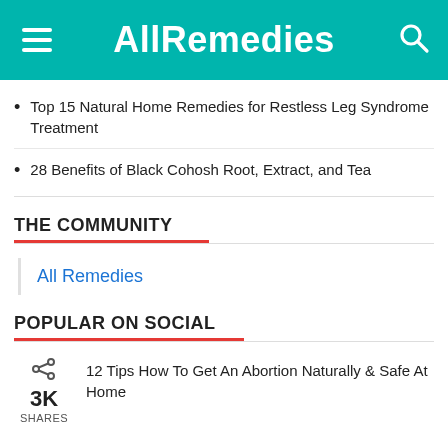AllRemedies
Top 15 Natural Home Remedies for Restless Leg Syndrome Treatment
28 Benefits of Black Cohosh Root, Extract, and Tea
THE COMMUNITY
All Remedies
POPULAR ON SOCIAL
12 Tips How To Get An Abortion Naturally & Safe At Home
3K SHARES